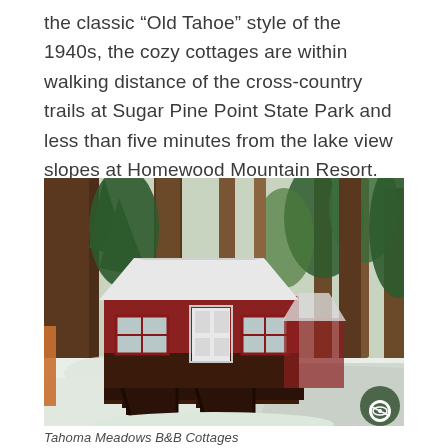the classic “Old Tahoe” style of the 1940s, the cozy cottages are within walking distance of the cross-country trails at Sugar Pine Point State Park and less than five minutes from the lake view slopes at Homewood Mountain Resort.
[Figure (photo): A winter photograph of Tahoma Meadows B&B Cottages: a red-painted cottage with a snow-covered roof, white door, dark wood steps and deck, surrounded by tall pine/redwood trees with snow on the ground and a path visible to the right.]
Tahoma Meadows B&B Cottages